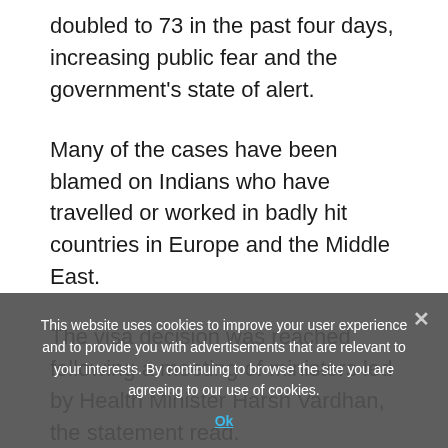doubled to 73 in the past four days, increasing public fear and the government's state of alert.
Many of the cases have been blamed on Indians who have travelled or worked in badly hit countries in Europe and the Middle East.
The visa decision was reached following a meeting of ministers led by Health Minister Harsh Vardhan, the statement read.
This website uses cookies to improve your user experience and to provide you with advertisements that are relevant to your interests. By continuing to browse the site you are agreeing to our use of cookies.